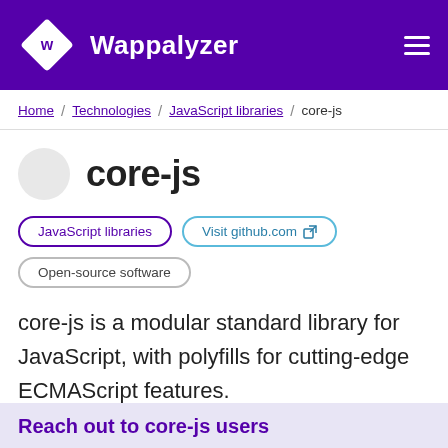Wappalyzer
Home / Technologies / JavaScript libraries / core-js
core-js
JavaScript libraries   Visit github.com   Open-source software
core-js is a modular standard library for JavaScript, with polyfills for cutting-edge ECMAScript features.
Reach out to core-js users